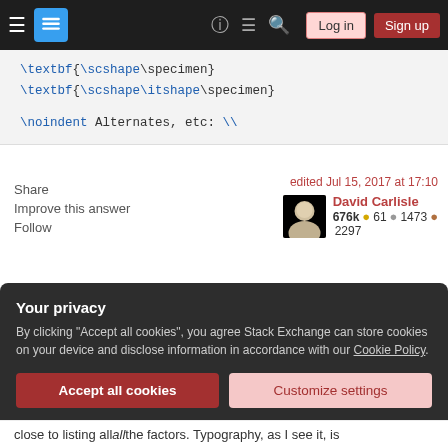Stack Exchange navigation bar with hamburger menu, site icon, help, chat, search, Log in, Sign up buttons
\textbf{\scshape\specimen}
\textbf{\scshape\itshape\specimen}

\noindent Alternates, etc: \\
Share
Improve this answer
Follow
edited Jul 15, 2017 at 17:10
David Carlisle
676k ● 61 ● 1473 ● 2297
answered Mar 23, 2013 at 12:19
Silke
10.2k ● 3 ● 31 ● 39
Your privacy
By clicking "Accept all cookies", you agree Stack Exchange can store cookies on your device and disclose information in accordance with our Cookie Policy.
Accept all cookies
Customize settings
close to listing all the factors. Typography, as I see it, is